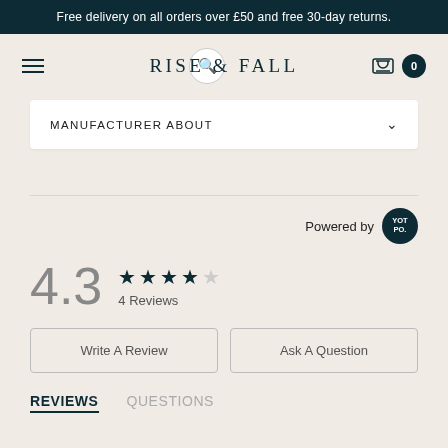Free delivery on all orders over £50 and free 30-day returns.
[Figure (logo): Rise & Fall brand logo with hamburger menu, search, and cart icons]
MANUFACTURER ABOUT
Powered by YOTPO
4.3 ★★★★☆ 4 Reviews
Write A Review
Ask A Question
REVIEWS   QUESTIONS